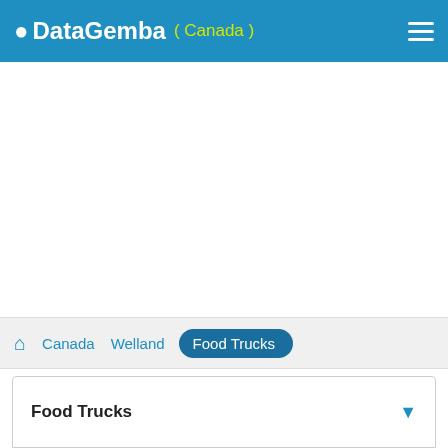DataGemba ( Canada )
Canada  Welland  Food Trucks
Food Trucks